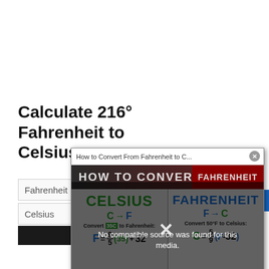Calculate 216° Fahrenheit to Celsius
Fahrenheit
Celsius
[Figure (screenshot): Video popup overlay showing 'How to Convert From Fahrenheit to C...' with 'No compatible source was found for this media.' message overlaid on a thumbnail showing CELSIUS ⇔ FAHRENHEIT conversion formulas with C→F: F = 9/5(35)+32 and F→C: C = 5/9(F-32)]